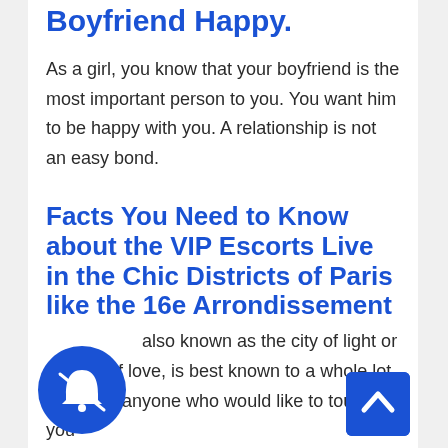Boyfriend Happy.
As a girl, you know that your boyfriend is the most important person to you. You want him to be happy with you. A relationship is not an easy bond.
Facts You Need to Know about the VIP Escorts Live in the Chic Districts of Paris like the 16e Arrondissement
also known as the city of light or the city of love, is best known to a whole lot of fun for anyone who would like to tour. Are you
[Figure (illustration): Blue circular bell/notification icon with a crossed-out bell symbol]
[Figure (illustration): Blue square scroll-to-top button with white upward chevron arrow]